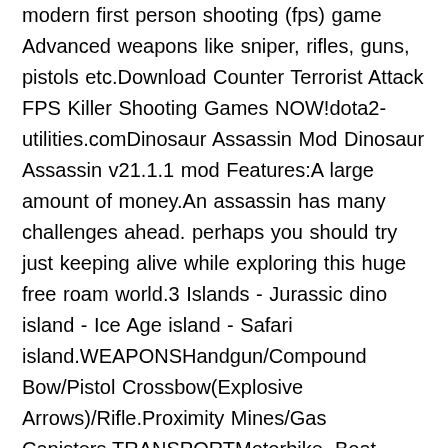modern first person shooting (fps) game Advanced weapons like sniper, rifles, guns, pistols etc.Download Counter Terrorist Attack FPS Killer Shooting Games NOW!dota2-utilities.comDinosaur Assassin Mod Dinosaur Assassin v21.1.1 mod Features:A large amount of money.An assassin has many challenges ahead. perhaps you should try just keeping alive while exploring this huge free roam world.3 Islands - Jurassic dino island - Ice Age island - Safari island.WEAPONSHandgun/Compound Bow/Pistol Crossbow(Explosive Arrows)/Rifle.Proximity Mines/Gas Canisters.TRANSPORTMotorbike, Boat, Jeep with Power Zoom Rifle.Horse your faithful friend - Whistle to Call.Mirror Portal - Use to teleport out of danger. Zip Line Fast Escape. 3D DINOSAURS/ANIMALS :TRex, Spinosaurus, Raptors, Triceratops, Velociraptors, Euoplocephalus, Pterodactyl, Dilophosaurus, Parasaurolophus. Brontosaurus, Sarcosuchus, Sabertooth Tiger, Mammoth, Dire Wolf, Short faced Bear, Wooly Rhino, Megaloceros, Scorphe, Elephant, Lion, Giraffe, Rhino